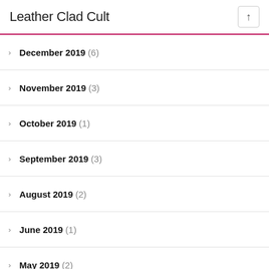Leather Clad Cult
December 2019 (6)
November 2019 (3)
October 2019 (1)
September 2019 (3)
August 2019 (2)
June 2019 (1)
May 2019 (2)
April 2019 (4)
March 2019 (1)
February 2019 (5)
January 2019 (3)